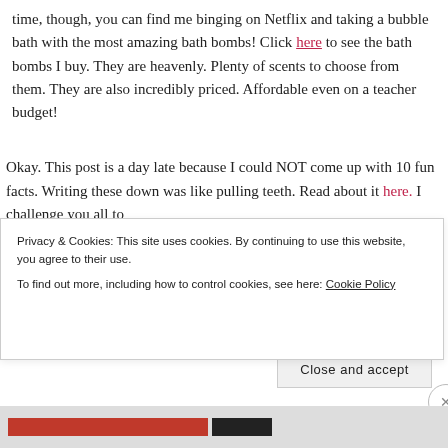time, though, you can find me binging on Netflix and taking a bubble bath with the most amazing bath bombs! Click here to see the bath bombs I buy. They are heavenly. Plenty of scents to choose from them. They are also incredibly priced. Affordable even on a teacher budget!
Okay. This post is a day late because I could NOT come up with 10 fun facts. Writing these down was like pulling teeth. Read about it here. I challenge you all to
Privacy & Cookies: This site uses cookies. By continuing to use this website, you agree to their use.
To find out more, including how to control cookies, see here: Cookie Policy